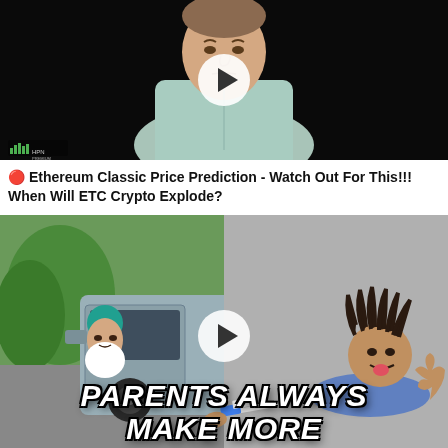[Figure (screenshot): Video thumbnail showing a man in a light blue button-up shirt against a black background, with a white play button overlay. Small audio waveform logo in lower left corner.]
🔴 Ethereum Classic Price Prediction - Watch Out For This!!! When Will ETC Crypto Explode?
[Figure (screenshot): Video thumbnail showing two scenes: left side shows a person in a teal/green outfit leaning out of a car window, right side shows another person lying on the ground making a thumbs up gesture. White play button overlay in center. Text overlay reads 'PARENTS ALWAYS MAKE MORE' in large italic bold white letters.]